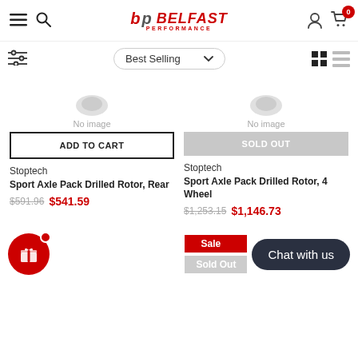Belfast Performance — e-commerce product listing page
Best Selling
[Figure (screenshot): No image placeholder for first product]
[Figure (screenshot): No image placeholder for second product]
ADD TO CART
SOLD OUT
Stoptech
Sport Axle Pack Drilled Rotor, Rear
$591.96  $541.59
Stoptech
Sport Axle Pack Drilled Rotor, 4 Wheel
$1,253.15  $1,146.73
Sale
Sold Out
Chat with us